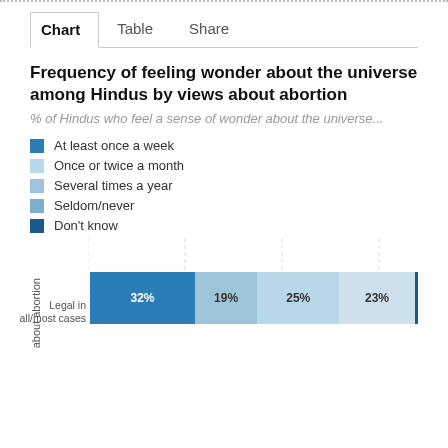Chart | Table | Share
Frequency of feeling wonder about the universe among Hindus by views about abortion
% of Hindus who feel a sense of wonder about the universe...
At least once a week
Once or twice a month
Several times a year
Seldom/never
Don't know
[Figure (stacked-bar-chart): Frequency of feeling wonder about the universe among Hindus by views about abortion]